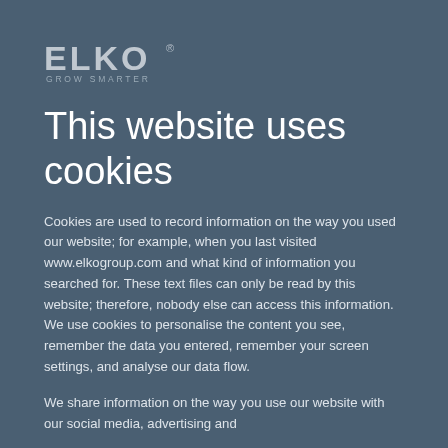[Figure (logo): ELKO logo with tagline GROW SMARTER]
This website uses cookies
Cookies are used to record information on the way you used our website; for example, when you last visited www.elkogroup.com and what kind of information you searched for. These text files can only be read by this website; therefore, nobody else can access this information. We use cookies to personalise the content you see, remember the data you entered, remember your screen settings, and analyse our data flow.
We share information on the way you use our website with our social media, advertising and